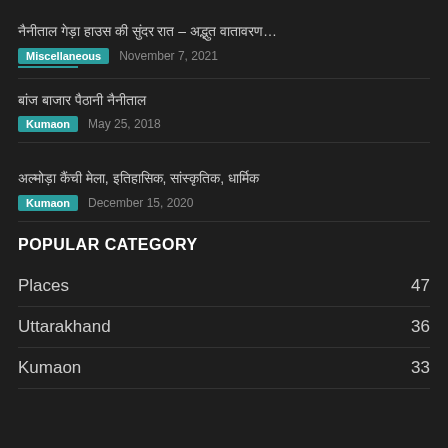[Hindi text] – [Hindi text]...
Miscellaneous   November 7, 2021
[Hindi text article title]
Kumaon   May 25, 2018
[Hindi text article title with commas]
Kumaon   December 15, 2020
POPULAR CATEGORY
Places   47
Uttarakhand   36
Kumaon   33